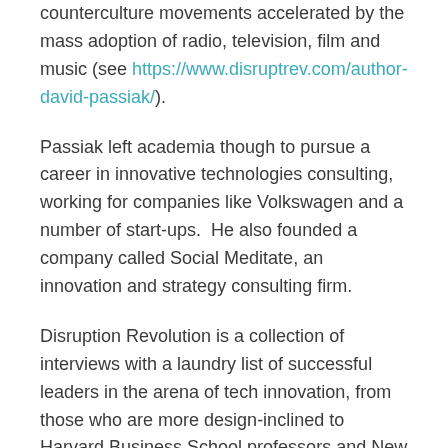counterculture movements accelerated by the mass adoption of radio, television, film and music (see https://www.disruptrev.com/author-david-passiak/).
Passiak left academia though to pursue a career in innovative technologies consulting, working for companies like Volkswagen and a number of start-ups.  He also founded a company called Social Meditate, an innovation and strategy consulting firm.
Disruption Revolution is a collection of interviews with a laundry list of successful leaders in the arena of tech innovation, from those who are more design-inclined to Harvard Business School professors and New Economy media moguls such as the editor of PandoDaily – a site reporting on the cutting edge of entrepreneurship.  These chapters provide perspective on the technology that's driving changes in our